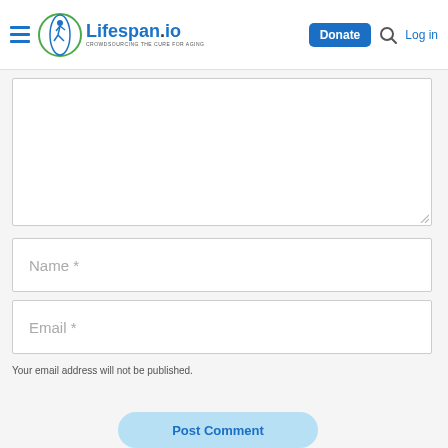Lifespan.io — CROWDSOURCING THE CURE FOR AGING | Donate | Log in
Name *
Email *
Your email address will not be published.
Post Comment